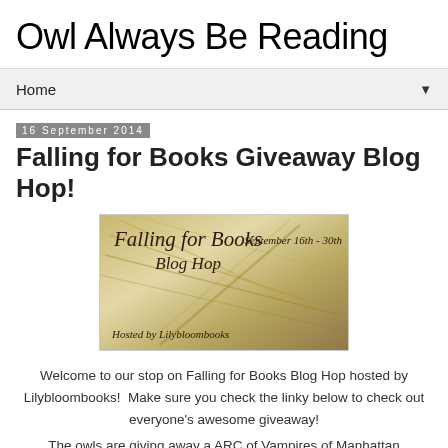Owl Always Be Reading
Home ▼
16 September 2014
Falling for Books Giveaway Blog Hop!
[Figure (illustration): Blog hop banner image reading 'Falling for Books Blog Hop' hosted by Lilybloombooks, September 16th-30th, with a background of open book pages in warm golden tones]
Welcome to our stop on Falling for Books Blog Hop hosted by Lilybloombooks!  Make sure you check the linky below to check out everyone's awesome giveaway!
The owls are giving away a ARC of Vampires of Manhattan